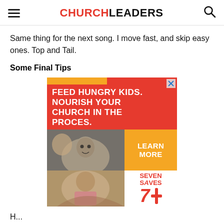CHURCHLEADERS
Same thing for the next song. I move fast, and skip easy ones. Top and Tail.
Some Final Tips
[Figure (infographic): Advertisement: 'Feed Hungry Kids. Nourish Your Church in the Proces.' with a photo of a smiling child. Orange 'Learn More' button. Seven Saves logo.]
H...